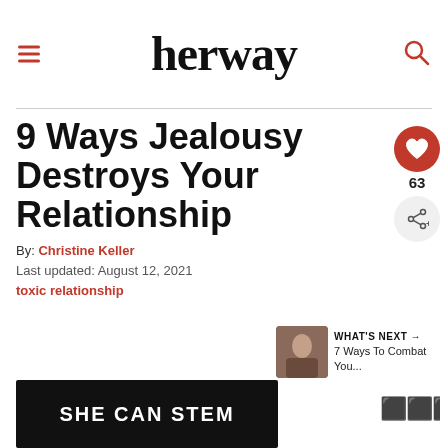herway
9 Ways Jealousy Destroys Your Relationship
By: Christine Keller
Last updated: August 12, 2021
toxic relationship
[Figure (other): Advertisement banner reading SHE CAN STEM on dark background]
[Figure (other): What's Next panel showing thumbnail and text: 7 Ways To Combat You...]